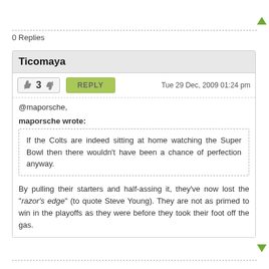0 Replies
Ticomaya
3   REPLY   Tue 29 Dec, 2009 01:24 pm
@maporsche,
maporsche wrote:
If the Colts are indeed sitting at home watching the Super Bowl then there wouldn't have been a chance of perfection anyway.
By pulling their starters and half-assing it, they've now lost the "razor's edge" (to quote Steve Young). They are not as primed to win in the playoffs as they were before they took their foot off the gas.